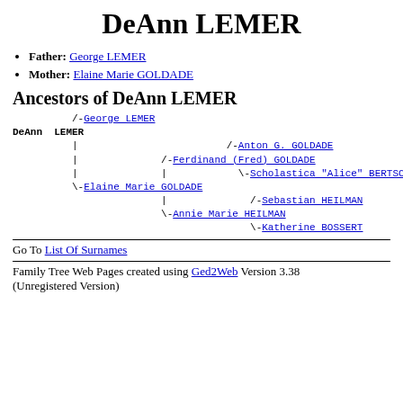DeAnn LEMER
Father: George LEMER
Mother: Elaine Marie GOLDADE
Ancestors of DeAnn LEMER
/-George LEMER
DeAnn  LEMER
        |                    /-Anton G. GOLDADE
        |          /-Ferdinand (Fred) GOLDADE
        |          |         \-Scholastica "Alice" BERTSCH
        \-Elaine Marie GOLDADE
                    |          /-Sebastian HEILMAN
                    \-Annie Marie HEILMAN
                               \-Katherine BOSSERT
Go To List Of Surnames
Family Tree Web Pages created using Ged2Web Version 3.38 (Unregistered Version)